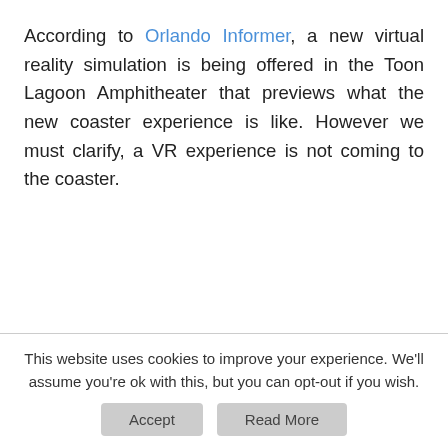According to Orlando Informer, a new virtual reality simulation is being offered in the Toon Lagoon Amphitheater that previews what the new coaster experience is like. However we must clarify, a VR experience is not coming to the coaster.
This website uses cookies to improve your experience. We'll assume you're ok with this, but you can opt-out if you wish.